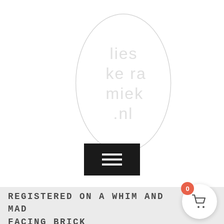[Figure (logo): Lieskeramiek.nl logo: oval/ellipse outline with text 'lies ke ra miek .nl' arranged vertically inside, light gray color on white background]
[Figure (other): Black hamburger menu button with three white horizontal lines]
REGISTERED ON A WHIM AND MAD FACING BRICK